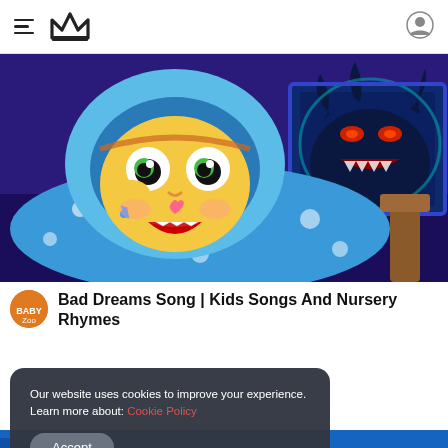Navigation header with hamburger menu, crown logo, and user icon
[Figure (illustration): Animated cartoon baby character wrapped in blue polka-dot blanket, crying in bed, with a scary dark monster creature visible through a window in the background. Purple/dark blue room setting.]
Bad Dreams Song | Kids Songs And Nursery Rhymes
Our website uses cookies to improve your experience. Learn more about: Cookie Policy
Accept